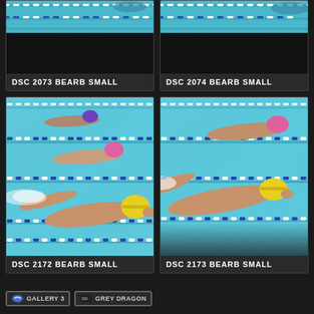[Figure (photo): Swimming pool photo — top portion of swimmer visible, blue water with lane lines, partially cropped]
DSC 2073 BEARB SMALL
[Figure (photo): Swimming pool photo — top portion of swimmer visible, blue water with lane lines, partially cropped]
DSC 2074 BEARB SMALL
[Figure (photo): Swimmer with yellow cap doing freestyle stroke in blue pool with lane dividers, two other swimmers visible in background]
DSC 2172 BEARB SMALL
[Figure (photo): Swimmer with yellow cap doing freestyle stroke in blue pool, another swimmer with pink cap visible in background]
DSC 2173 BEARB SMALL
GALLERY 3   GREY DRAGON